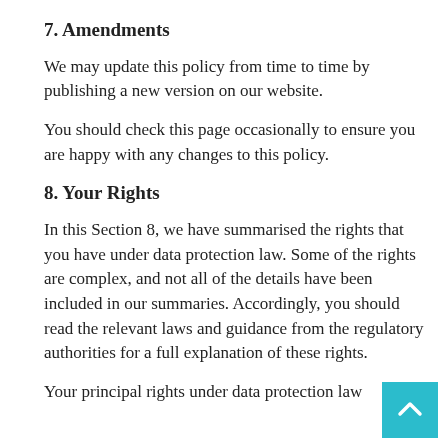7. Amendments
We may update this policy from time to time by publishing a new version on our website.
You should check this page occasionally to ensure you are happy with any changes to this policy.
8. Your Rights
In this Section 8, we have summarised the rights that you have under data protection law. Some of the rights are complex, and not all of the details have been included in our summaries. Accordingly, you should read the relevant laws and guidance from the regulatory authorities for a full explanation of these rights.
Your principal rights under data protection law